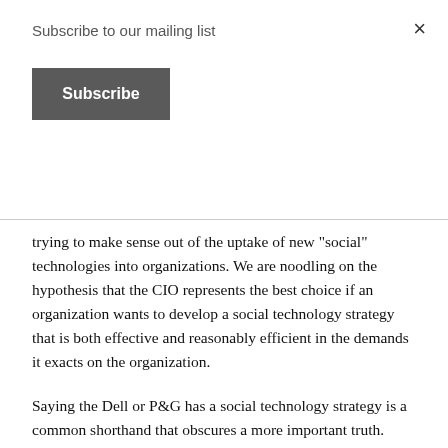Subscribe to our mailing list
Subscribe
×
trying to make sense out of the uptake of new "social" technologies into organizations. We are noodling on the hypothesis that the CIO represents the best choice if an organization wants to develop a social technology strategy that is both effective and reasonably efficient in the demands it exacts on the organization.
Saying the Dell or P&G has a social technology strategy is a common shorthand that obscures a more important truth. There are real people in specific roles who take on the responsibility for developing and deploying the collection of